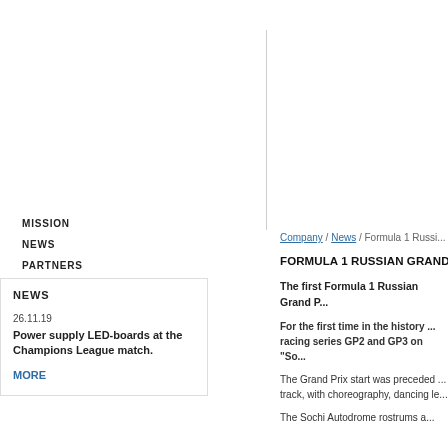MISSION
NEWS
PARTNERS
NEWS
26.11.19
Power supply LED-boards at the Champions League match.
MORE
Company / News / Formula 1 Russi...
FORMULA 1 RUSSIAN GRAND PRIX
The first Formula 1 Russian Grand P...
For the first time in the history ... racing series GP2 and GP3 on "So...
The Grand Prix start was preceded ... track, with choreography, dancing le...
The Sochi Autodrome rostrums a...